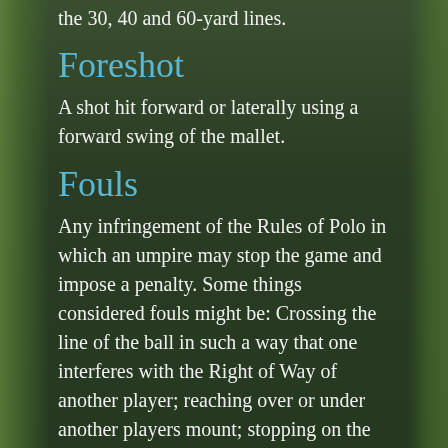the 30, 40 and 60-yard lines.
Foreshot
A shot hit forward or laterally using a forward swing of the mallet.
Fouls
Any infringement of the Rules of Polo in which an umpire may stop the game and impose a penalty. Some things considered fouls might be: Crossing the line of the ball in such a way that one interferes with the Right of Way of another player; reaching over or under another players mount; stopping on the ball in a way that interferes with play; bumping at a speed or angle which could endanger players and